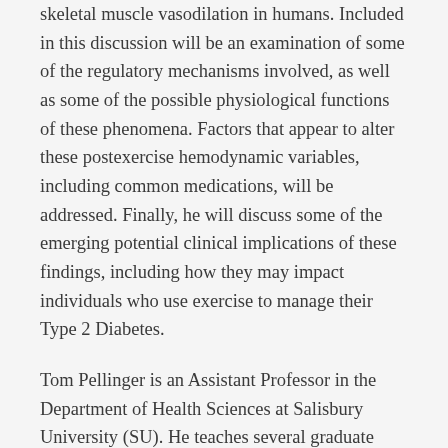skeletal muscle vasodilation in humans. Included in this discussion will be an examination of some of the regulatory mechanisms involved, as well as some of the possible physiological functions of these phenomena. Factors that appear to alter these postexercise hemodynamic variables, including common medications, will be addressed. Finally, he will discuss some of the emerging potential clinical implications of these findings, including how they may impact individuals who use exercise to manage their Type 2 Diabetes.
Tom Pellinger is an Assistant Professor in the Department of Health Sciences at Salisbury University (SU). He teaches several graduate courses, including Special Population Interventions, Essentials of Pharmacology, and Research in Physiology, and also serves as the Admissions Coordinator for the Master